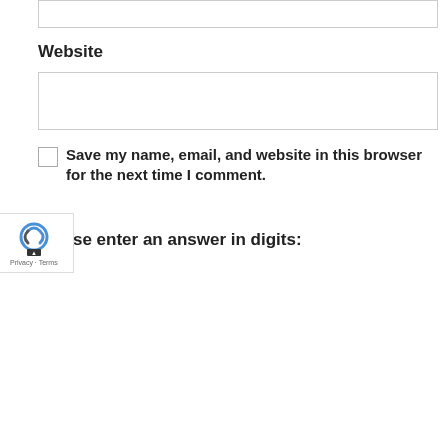Website
Save my name, email, and website in this browser for the next time I comment.
Please enter an answer in digits:
20 − one =
POST COMMENT